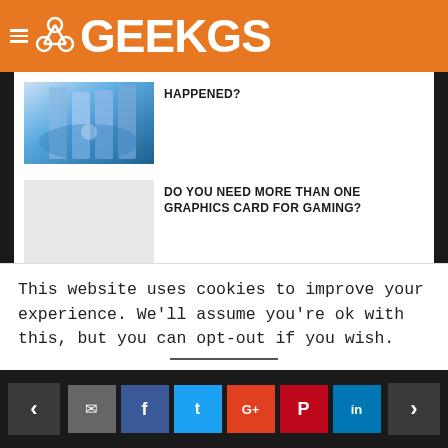GEEKGS
[Figure (photo): Technology image with blue circuit/CPU visuals]
HAPPENED?
[Figure (photo): Blank/placeholder thumbnail for graphics card article]
DO YOU NEED MORE THAN ONE GRAPHICS CARD FOR GAMING?
ADD COMMENT
This website uses cookies to improve your experience. We'll assume you're ok with this, but you can opt-out if you wish.